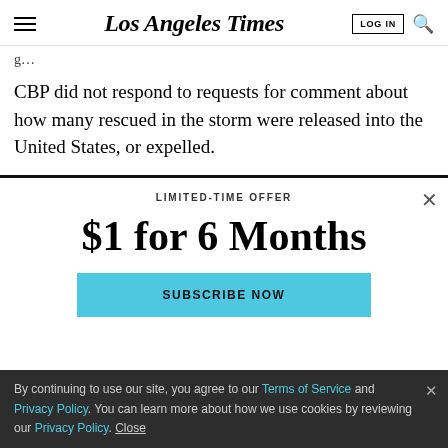Los Angeles Times | LOG IN | [search]
CBP did not respond to requests for comment about how many rescued in the storm were released into the United States, or expelled.
LIMITED-TIME OFFER
$1 for 6 Months
SUBSCRIBE NOW
By continuing to use our site, you agree to our Terms of Service and Privacy Policy. You can learn more about how we use cookies by reviewing our Privacy Policy. Close